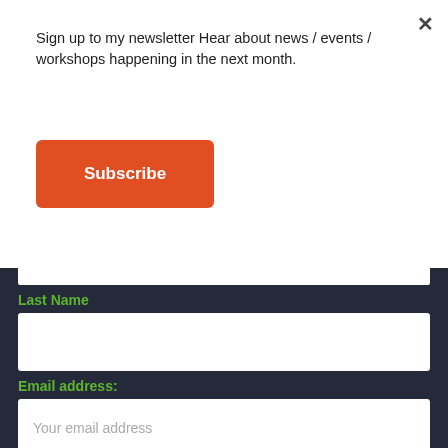Sign up to my newsletter Hear about news / events / workshops happening in the next month.
×
Subscribe
Last Name
Email address:
Your email address
SIGN UP
Privacy · Terms